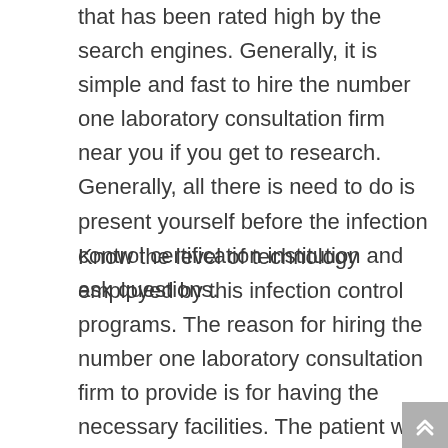that has been rated high by the search engines. Generally, it is simple and fast to hire the number one laboratory consultation firm near you if you get to research. Generally, all there is need to do is present yourself before the infection control certification institution and ask questions.
Know the level of technology employed by this infection control programs. The reason for hiring the number one laboratory consultation firm to provide is for having the necessary facilities. The patient will have to generally have a cost-benefit analysis of having facilities that are currently in the market. Usually, why it is expected of you to look for the number one laboratory consultation firm that has the latest knowledge to ensure that they serve you accordingly. Maybe you are weighing the pros and